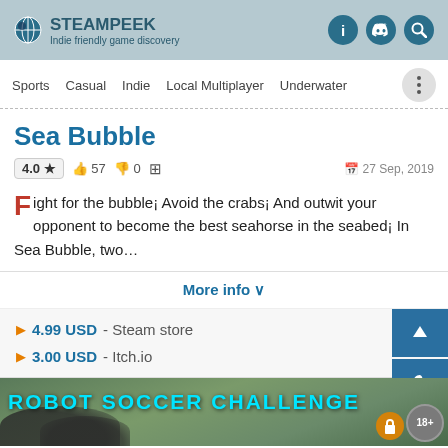STEAMPEEK - Indie friendly game discovery
Sports  Casual  Indie  Local Multiplayer  Underwater
Sea Bubble
4.0 ★  👍 57  👎 0  🪟   27 Sep, 2019
Fight for the bubble¡ Avoid the crabs¡ And outwit your opponent to become the best seahorse in the seabed¡ In Sea Bubble, two...
More info ∨
▶ 4.99 USD - Steam store
▶ 3.00 USD - Itch.io
[Figure (screenshot): Robot Soccer Challenge game banner with cyan bold title text over a rocky/grassy outdoor scene]